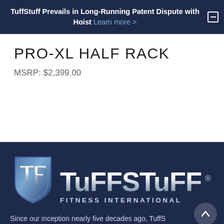TuffStuff Prevails in Long-Running Patent Dispute with Hoist Learn more >
PRO-XL HALF RACK
MSRP: $2,399.00
[Figure (logo): TuffStuff Fitness International logo — shield emblem with TF initials on left, stylized TUFFSTUFF wordmark in silver/chrome, FITNESS INTERNATIONAL subtitle below]
Since our inception nearly five decades ago, TuffStuff Fitness International has become recognized